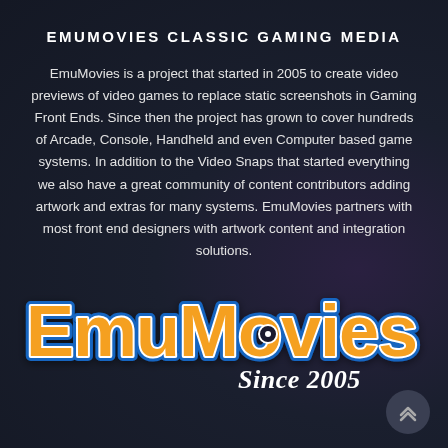EMUMOVIES CLASSIC GAMING MEDIA
EmuMovies is a project that started in 2005 to create video previews of video games to replace static screenshots in Gaming Front Ends. Since then the project has grown to cover hundreds of Arcade, Console, Handheld and even Computer based game systems. In addition to the Video Snaps that started everything we also have a great community of content contributors adding artwork and extras for many systems. EmuMovies partners with most front end designers with artwork content and integration solutions.
[Figure (logo): EmuMovies logo with orange bubble letters on blue outline, and 'Since 2005' text in white italic script below]